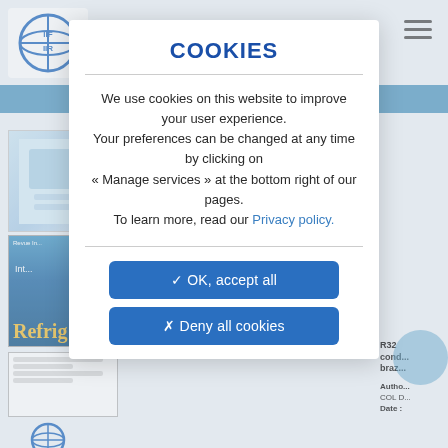[Figure (screenshot): Background of IIF/IIR website with logo, blue navigation banner, journal covers, article thumbnails, and blurred article listings on left and right sides.]
COOKIES
We use cookies on this website to improve your user experience.
Your preferences can be changed at any time by clicking on
« Manage services » at the bottom right of our pages.
To learn more, read our Privacy policy.
✓ OK, accept all
✗ Deny all cookies